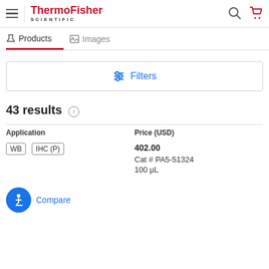ThermoFisher SCIENTIFIC — Products | Images
Filters
43 results
| Application | Price (USD) |
| --- | --- |
| WB  IHC (P) | 402.00
Cat # PA5-51324
100 µL |
Compare